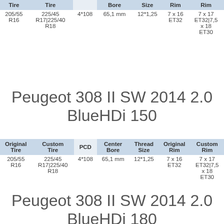| Original Tire | Custom Tire | PCD | Center Bore | Thread Size | Original Rim | Custom Rim |
| --- | --- | --- | --- | --- | --- | --- |
| 205/55 R16 | 225/45 R17|225/40 R18 | 4*108 | 65,1 mm | 12*1,25 | 7 x 16 ET32 | 7 x 17 ET32|7,5 x 18 ET30 |
Peugeot 308 II SW 2014 2.0 BlueHDi 150
| Original Tire | Custom Tire | PCD | Center Bore | Thread Size | Original Rim | Custom Rim |
| --- | --- | --- | --- | --- | --- | --- |
| 205/55 R16 | 225/45 R17|225/40 R18 | 4*108 | 65,1 mm | 12*1,25 | 7 x 16 ET32 | 7 x 17 ET32|7,5 x 18 ET30 |
Peugeot 308 II SW 2014 2.0 BlueHDi 180